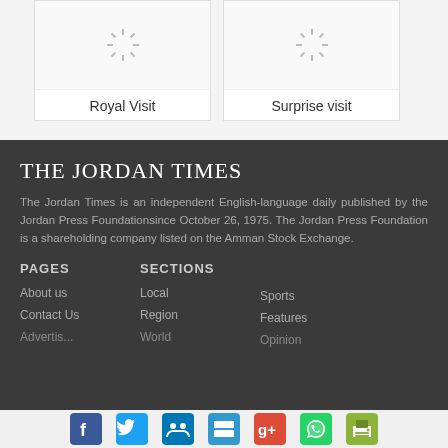[Figure (photo): Loading spinner placeholder for Royal Visit image]
Royal Visit
[Figure (photo): Loading spinner placeholder for Surprise visit image]
Surprise visit
THE JORDAN TIMES
The Jordan Times is an independent English-language daily published by the Jordan Press Foundationsince October 26, 1975. The Jordan Press Foundation is a shareholding company listed on the Amman Stock Exchange.
PAGES
SECTIONS
About us
Contact Us
Advertising
Local
Region
World
Sports
Features
Opinion